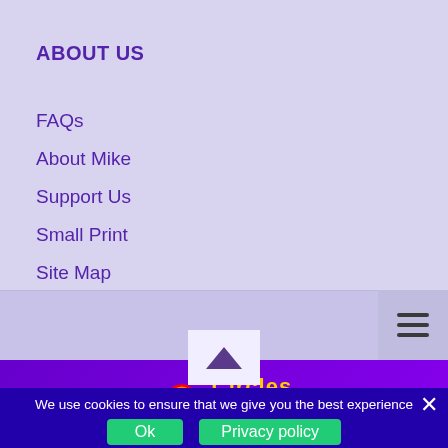ABOUT US
FAQs
About Mike
Support Us
Small Print
Site Map
[Figure (logo): 7 Circles rainbow logo with text]
We use cookies to ensure that we give you the best experience on our website. If you continue to use this site we will assume that you are happy with it.
Ok
Privacy policy